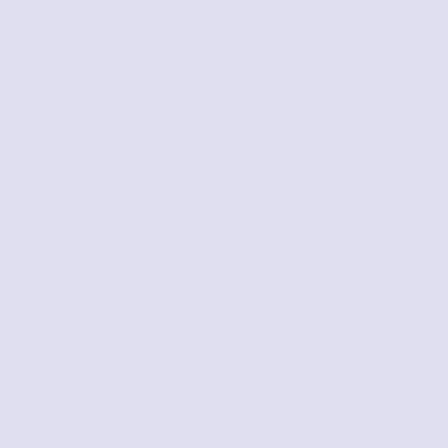[Figure (illustration): Left sidebar panel with light purple/lavender background]
This is a C... Only custom... Capstone C... cart for purc...
| GRL | L |
| --- | --- |
| S | 1 |
[Figure (illustration): Book thumbnail for Magnet book showing text pages]
Magnet... by Capstone...
| GRL | L |
| --- | --- |
|  |
[Figure (photo): Book cover for Materials showing colorful pencils/materials on orange background]
Materia... by Richard...
| GRL | L |
| --- | --- |
| S | 1 |